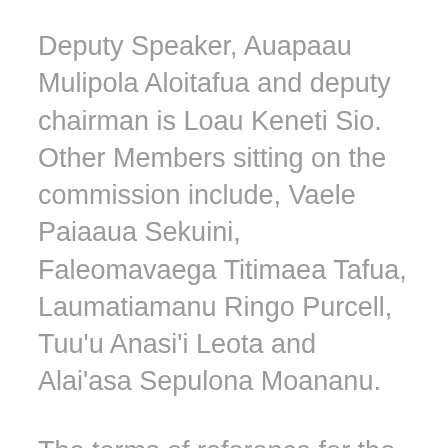Deputy Speaker, Auapaau Mulipola Aloitafua and deputy chairman is Loau Keneti Sio. Other Members sitting on the commission include, Vaele Paiaaua Sekuini, Faleomavaega Titimaea Tafua, Laumatiamanu Ringo Purcell, Tuu'u Anasi'i Leota and Alai'asa Sepulona Moananu.
The terms of reference for the Commission is to make recommendations for a process that should be followed by Parliament in similar matters;